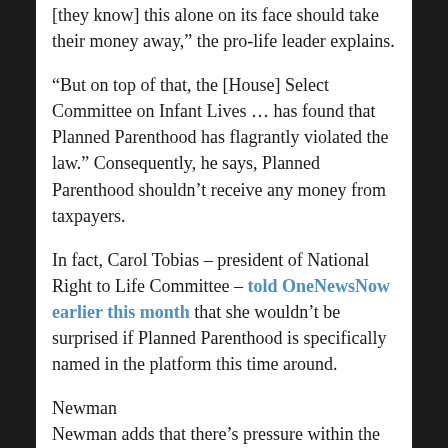[they know] this alone on its face should take their money away," the pro-life leader explains.
“But on top of that, the [House] Select Committee on Infant Lives … has found that Planned Parenthood has flagrantly violated the law.” Consequently, he says, Planned Parenthood shouldn’t receive any money from taxpayers.
In fact, Carol Tobias – president of National Right to Life Committee – told OneNewsNow earlier this month that she wouldn’t be surprised if Planned Parenthood is specifically named in the platform this time around.
Newman
Newman adds that there’s pressure within the Republican Party to soften pro-life language – but